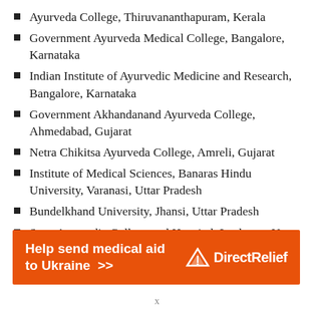Ayurveda College, Thiruvananthapuram, Kerala
Government Ayurveda Medical College, Bangalore, Karnataka
Indian Institute of Ayurvedic Medicine and Research, Bangalore, Karnataka
Government Akhandanand Ayurveda College, Ahmedabad, Gujarat
Netra Chikitsa Ayurveda College, Amreli, Gujarat
Institute of Medical Sciences, Banaras Hindu University, Varanasi, Uttar Pradesh
Bundelkhand University, Jhansi, Uttar Pradesh
State Ayurvedic College and Hospital, Lucknow, Uttar Pradesh
Ayurvedic College and Hospital, Sampurnanand
[Figure (infographic): Orange banner advertisement: 'Help send medical aid to Ukraine >>' with Direct Relief logo on the right]
x